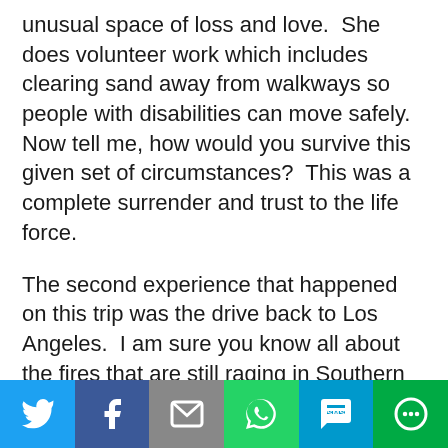unusual space of loss and love.  She does volunteer work which includes clearing sand away from walkways so people with disabilities can move safely.  Now tell me, how would you survive this given set of circumstances?  This was a complete surrender and trust to the life force.
The second experience that happened on this trip was the drive back to Los Angeles.  I am sure you know all about the fires that are still raging in Southern California.  These fires lick the 101 freeway and I knew that was my route back.  I followed the reports and they said the 101 was open so off I drove.  It was wide open and beautiful for about an hour and a half and then it was i
[Figure (infographic): Social sharing bar with six buttons: Twitter (blue), Facebook (dark blue), Email (grey), WhatsApp (green), SMS (teal-blue), More (green)]